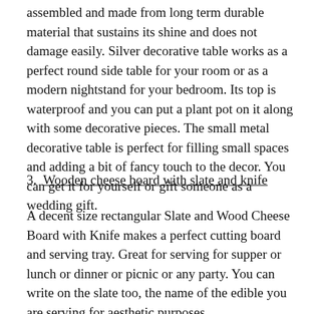assembled and made from long term durable material that sustains its shine and does not damage easily. Silver decorative table works as a perfect round side table for your room or as a modern nightstand for your bedroom. Its top is waterproof and you can put a plant pot on it along with some decorative pieces. The small metal decorative table is perfect for filling small spaces and adding a bit of fancy touch to the decor. You can get it for yourself or gift someone as a wedding gift.
3.  Wooden cheese board with slate and knife
A decent size rectangular Slate and Wood Cheese Board with Knife makes a perfect cutting board and serving tray. Great for serving for supper or lunch or dinner or picnic or any party. You can write on the slate too, the name of the edible you are serving for aesthetic purposes.